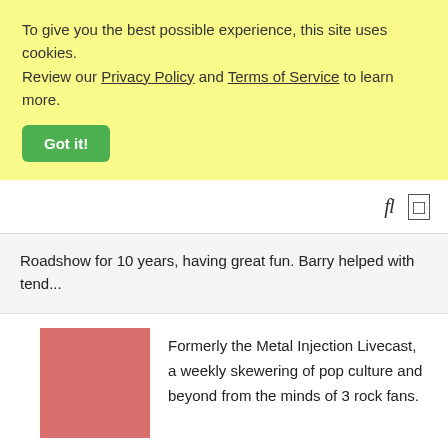To give you the best possible experience, this site uses cookies. Review our Privacy Policy and Terms of Service to learn more.
Got it!
fl  [icons]
Roadshow for 10 years, having great fun. Barry helped with tend...
[Figure (photo): Pink/salmon colored square thumbnail image]
Formerly the Metal Injection Livecast, a weekly skewering of pop culture and beyond from the minds of 3 rock fans.
[Figure (photo): Hot pink colored square thumbnail image]
Your favourite rock & metal podcast bringing you all the latest news, opinions, honest reviews and